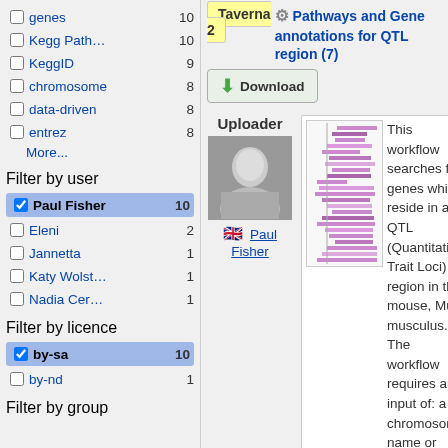genes 10
Kegg Path... 10
KeggID 9
chromosome 8
data-driven 8
entrez 8
More...
Filter by user
Paul Fisher 10
Eleni 2
Jannetta 1
Katy Wolst... 1
Nadia Cer... 1
Filter by licence
by-sa 10
by-nd 1
Filter by group
Taverna 2
Pathways and Gene annotations for QTL region (7)
Uploader
Paul Fisher
[Figure (illustration): Workflow thumbnail showing gene pathway visualization with colored bars]
This workflow searches for genes which reside in a QTL (Quantitative Trait Loci) region in the mouse, Mus musculus. The workflow requires an input of: a chromosome name or number; a QTL start base pair position; QTL end base pair position.